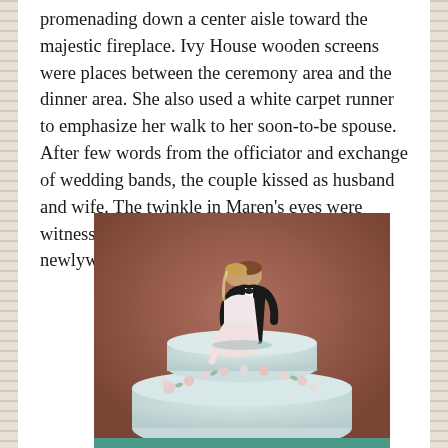promenading down a center aisle toward the majestic fireplace. Ivy House wooden screens were places between the ceremony area and the dinner area. She also used a white carpet runner to emphasize her walk to her soon-to-be spouse. After few words from the officiator and exchange of wedding bands, the couple kissed as husband and wife. The twinkle in Maren's eyes were witnessed by all as guests congratulated the newlyweds.
[Figure (photo): A wedding cake topper showing a bride and groom figurine embracing and kissing. The groom is in a black suit and the bride in a white dress. They are atop a white fondant cake decorated with pink floral details. The background is a warm brownish-red.]